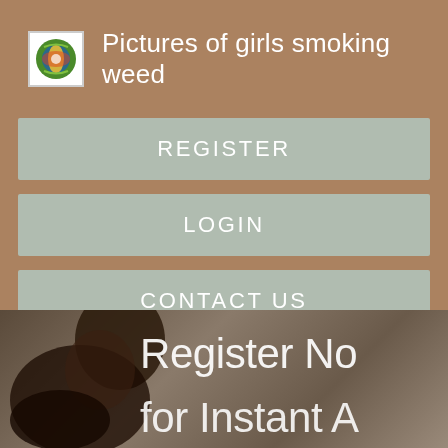Pictures of girls smoking weed
REGISTER
LOGIN
CONTACT US
[Figure (photo): A person in a dark photo with overlay text reading 'Register No' and 'for Instant A']
Register No
for Instant A